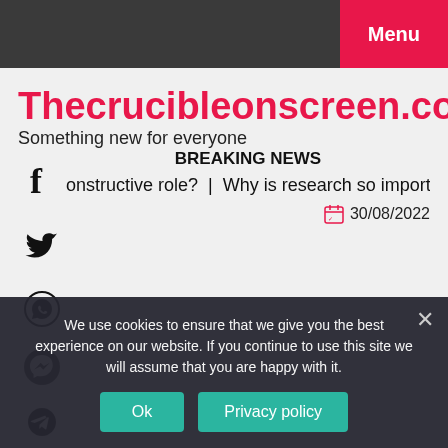Menu
Thecrucibleonscreen.com
Something new for everyone
BREAKING NEWS
onstructive role?  |  Why is research so important?  |  Did Ac
30/08/2022
We use cookies to ensure that we give you the best experience on our website. If you continue to use this site we will assume that you are happy with it.